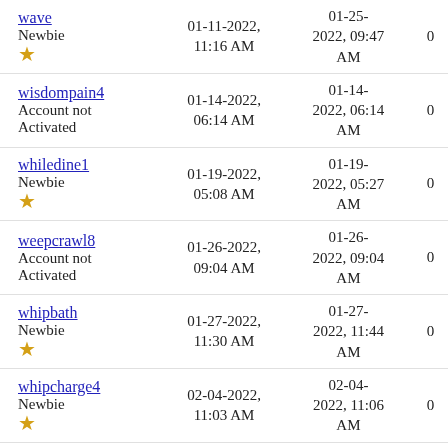| Username/Role | Joined | Last Visit | Posts |
| --- | --- | --- | --- |
| wave
Newbie ★ | 01-11-2022, 11:16 AM | 01-25-2022, 09:47 AM | 0 |
| wisdompain4
Account not Activated | 01-14-2022, 06:14 AM | 01-14-2022, 06:14 AM | 0 |
| whiledine1
Newbie ★ | 01-19-2022, 05:08 AM | 01-19-2022, 05:27 AM | 0 |
| weepcrawl8
Account not Activated | 01-26-2022, 09:04 AM | 01-26-2022, 09:04 AM | 0 |
| whipbath
Newbie ★ | 01-27-2022, 11:30 AM | 01-27-2022, 11:44 AM | 0 |
| whipcharge4
Newbie ★ | 02-04-2022, 11:03 AM | 02-04-2022, 11:06 AM | 0 |